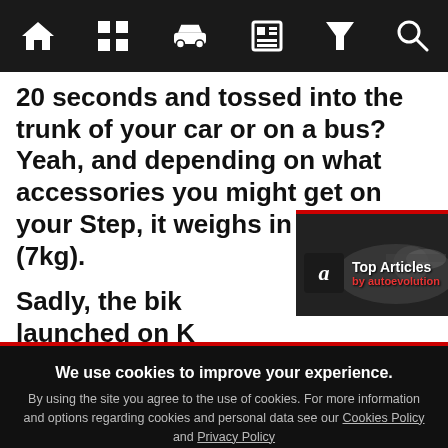Navigation bar with home, grid, car, news, filter, search icons
20 seconds and tossed into the trunk of your car or on a bus? Yeah, and depending on what accessories you might get on your Step, it weighs in at 15.4lbs (7kg).
Sadly, the bik... launched on K...
[Figure (screenshot): Top Articles by autoevolution popup card with dark background and racing car image]
We use cookies to improve your experience. By using the site you agree to the use of cookies. For more information and options regarding cookies and personal data see our Cookies Policy and Privacy Policy
Accept cookies & close
California residents: Do Not Sell My Info